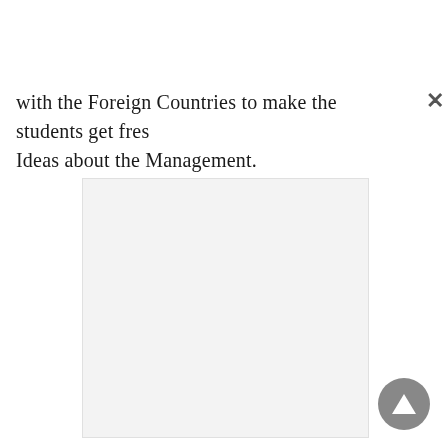with the Foreign Countries to make the students get fresh Ideas about the Management.
[Figure (other): Light gray rectangular placeholder image area]